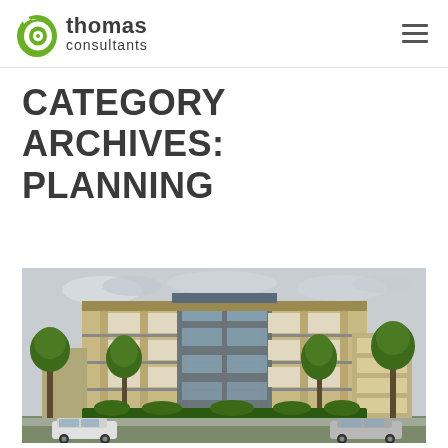thomas consultants
CATEGORY ARCHIVES: PLANNING
[Figure (photo): Exterior photograph of a modern multi-storey residential apartment building with timber-clad balconies, trees lining the street, and parked cars in the foreground under an overcast sky.]